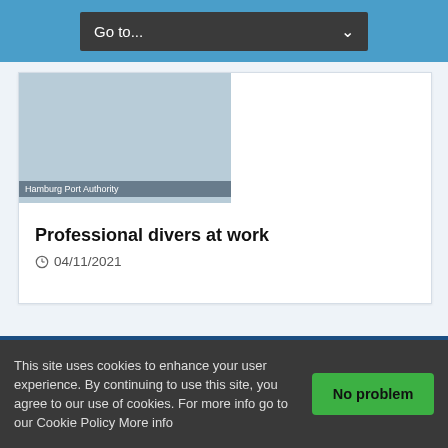Go to...
Hamburg Port Authority
Professional divers at work
04/11/2021
Hellenic Shipping News Worldwide Online Daily Newspaper on Hellenic and International Shipping
This site uses cookies to enhance your user experience. By continuing to use this site, you agree to our use of cookies. For more info go to our Cookie Policy More info